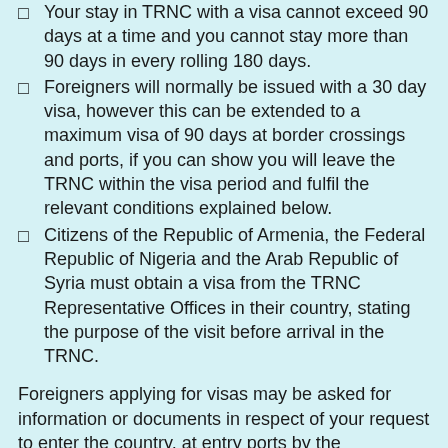Your stay in TRNC with a visa cannot exceed 90 days at a time and you cannot stay more than 90 days in every rolling 180 days.
Foreigners will normally be issued with a 30 day visa, however this can be extended to a maximum visa of 90 days at border crossings and ports, if you can show you will leave the TRNC within the visa period and fulfil the relevant conditions explained below.
Citizens of the Republic of Armenia, the Federal Republic of Nigeria and the Arab Republic of Syria must obtain a visa from the TRNC Representative Offices in their country, stating the purpose of the visit before arrival in the TRNC.
Foreigners applying for visas may be asked for information or documents in respect of your request to enter the country, at entry ports by the Immigration Officer. The Officer may wish to carry out comprehensive checks.
Note: Due to Covid-19, anyone who entered the country on a tourist visa will not be penalised for overstaying provided they either